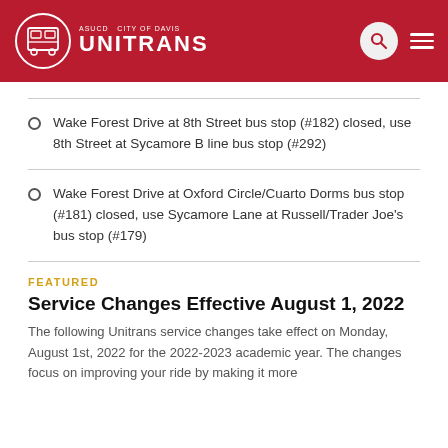ASUCD City of Davis UNITRANS
Wake Forest Drive at 8th Street bus stop (#182) closed, use 8th Street at Sycamore B line bus stop (#292)
Wake Forest Drive at Oxford Circle/Cuarto Dorms bus stop (#181) closed, use Sycamore Lane at Russell/Trader Joe's bus stop (#179)
FEATURED
Service Changes Effective August 1, 2022
The following Unitrans service changes take effect on Monday, August 1st, 2022 for the 2022-2023 academic year. The changes focus on improving your ride by making it more